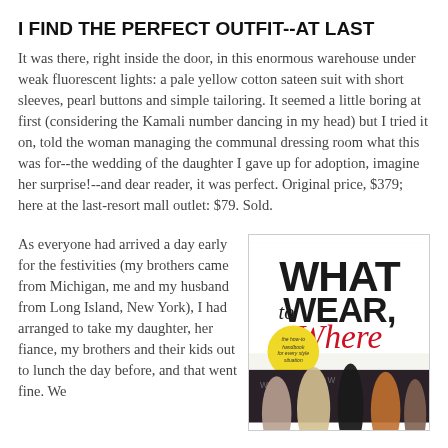I FIND THE PERFECT OUTFIT--AT LAST
It was there, right inside the door, in this enormous warehouse under weak fluorescent lights: a pale yellow cotton sateen suit with short sleeves, pearl buttons and simple tailoring. It seemed a little boring at first (considering the Kamali number dancing in my head) but I tried it on, told the woman managing the communal dressing room what this was for--the wedding of the daughter I gave up for adoption, imagine her surprise!--and dear reader, it was perfect. Original price, $379; here at the last-resort mall outlet: $79. Sold.
As everyone had arrived a day early for the festivities (my brothers came from Michigan, me and my husband from Long Island, New York), I had arranged to take my daughter, her fiance, my brothers and their kids out to lunch the day before, and that went fine. We
[Figure (photo): Book cover showing 'WHAT to WEAR, Where' with red and black text and a yellow circular badge reading 'the how-to handbook for every style situation', with people on a red carpet at the bottom]